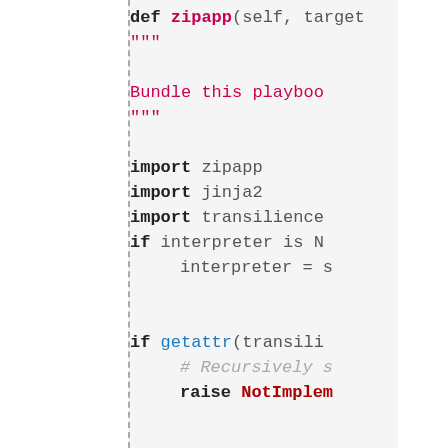[Figure (screenshot): Python source code snippet showing a 'zipapp' method definition with imports, conditional checks using getattr, raise NotImplementedError, a with tempfile.Temp block, and shutil.copytree/copy calls. Code is syntax-highlighted with keywords in bold, docstrings/function names in red/pink, built-ins in blue, comments in light gray, and exceptions in dark red.]